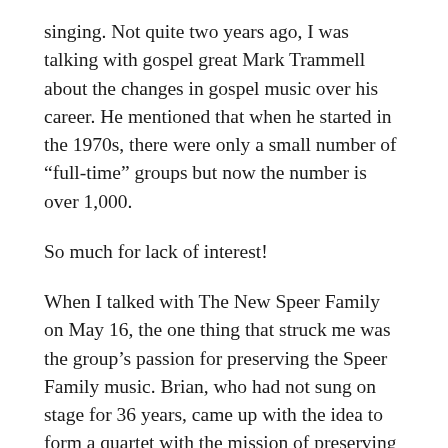singing. Not quite two years ago, I was talking with gospel great Mark Trammell about the changes in gospel music over his career. He mentioned that when he started in the 1970s, there were only a small number of “full-time” groups but now the number is over 1,000.
So much for lack of interest!
When I talked with The New Speer Family on May 16, the one thing that struck me was the group’s passion for preserving the Speer Family music. Brian, who had not sung on stage for 36 years, came up with the idea to form a quartet with the mission of preserving his family’s music. But the goal is more than the distinctive Speer sound.
As bass singer Mike Allen said, “Obviously the basic